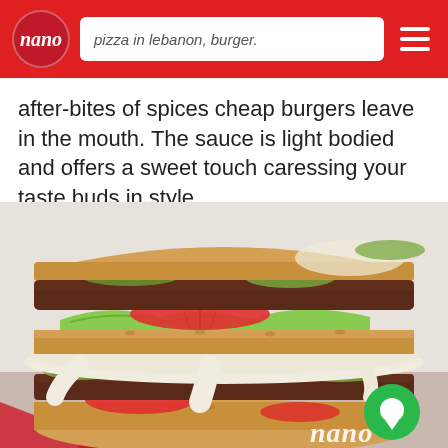nano — pizza in lebanon, burger.
after-bites of spices cheap burgers leave in the mouth. The sauce is light bodied and offers a sweet touch caressing your taste buds in style.
[Figure (photo): Close-up photo of a stacked burger cut in half showing layers of bun, meat patty, melted white cheese, lettuce, tomato, and pickles, with a nano watermark and chat bubble icon in the bottom right corner.]